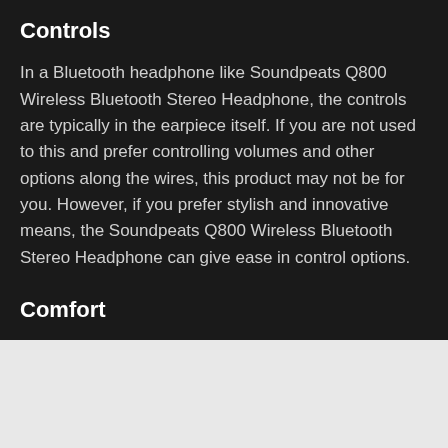Controls
In a Bluetooth headphone like Soundpeats Q800 Wireless Bluetooth Stereo Headphone, the controls are typically in the earpiece itself. If you are not used to this and prefer controlling volumes and other options along the wires, this product may not be for you. However, if you prefer stylish and innovative means, the Soundpeats Q800 Wireless Bluetooth Stereo Headphone can give ease in control options.
Comfort